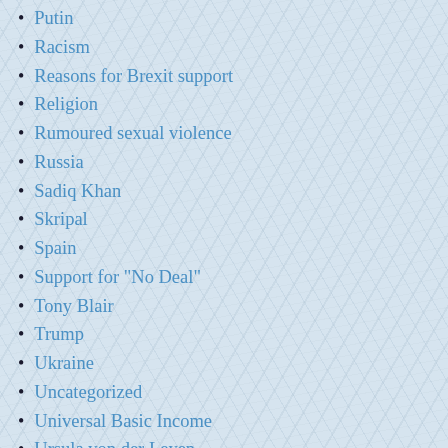Putin
Racism
Reasons for Brexit support
Religion
Rumoured sexual violence
Russia
Sadiq Khan
Skripal
Spain
Support for "No Deal"
Tony Blair
Trump
Ukraine
Uncategorized
Universal Basic Income
Ursula von der Leyen
Voting
Voting reform
Xenophobia